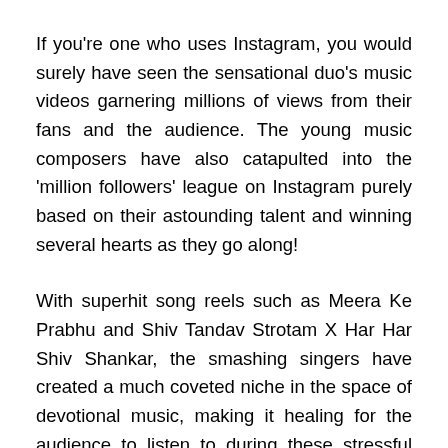If you're one who uses Instagram, you would surely have seen the sensational duo's music videos garnering millions of views from their fans and the audience. The young music composers have also catapulted into the 'million followers' league on Instagram purely based on their astounding talent and winning several hearts as they go along!
With superhit song reels such as Meera Ke Prabhu and Shiv Tandav Strotam X Har Har Shiv Shankar, the smashing singers have created a much coveted niche in the space of devotional music, making it healing for the audience to listen to during these stressful times. So what's in store for all the Sachet-Parampara fans now ? Word has it that the duo are currently brainstorming on their upcoming project, the exciting music album of the film Adipurush! The duo are on board to compose the music for the film and it leaves us waiting with bated breath on a sneak peek of the Adipurush